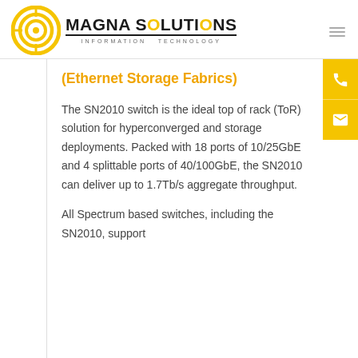[Figure (logo): Magna Solutions Information Technology logo with circular yellow target icon and bold black text]
(Ethernet Storage Fabrics)
The SN2010 switch is the ideal top of rack (ToR) solution for hyperconverged and storage deployments. Packed with 18 ports of 10/25GbE and 4 splittable ports of 40/100GbE, the SN2010 can deliver up to 1.7Tb/s aggregate throughput.
All Spectrum based switches, including the SN2010, support